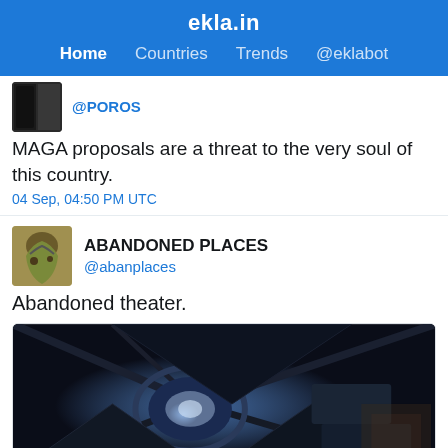ekla.in
Home  Countries  Trends  @eklabot
@POROS
MAGA proposals are a threat to the very soul of this country.
04 Sep, 04:50 PM UTC
ABANDONED PLACES @abanplaces
Abandoned theater.
[Figure (photo): Aerial view of an abandoned theater interior showing circular stage and ornate ceiling details in dark blue tones]